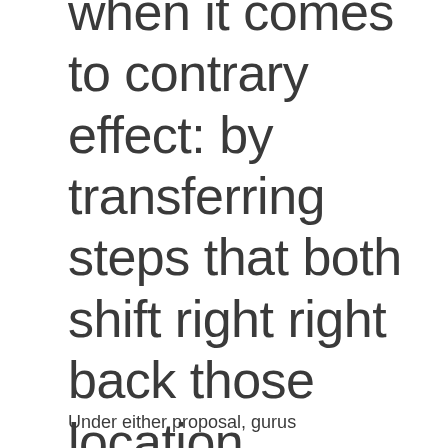when it comes to contrary effect: by transferring steps that both shift right right back those location ordinances or create pay day and auto name creditors the force to simply simply take cities to court over ordinances the two dont really like.
Under either proposal, gurus